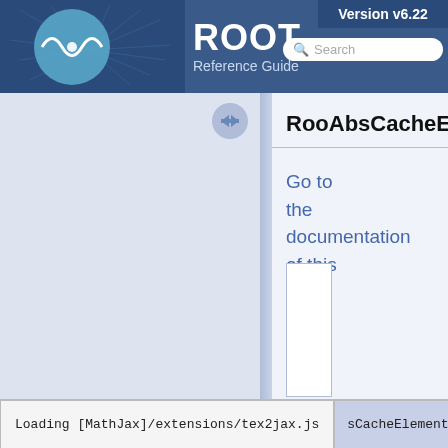ROOT Reference Guide Version v6.22
RooAbsCacheEle
Go to the documentation of this file.
Loading [MathJax]/extensions/tex2jax.js   sCacheElement.h